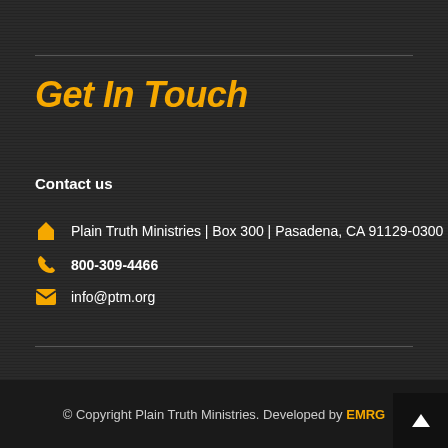Get In Touch
Contact us
Plain Truth Ministries | Box 300 | Pasadena, CA 91129-0300
800-309-4466
info@ptm.org
© Copyright Plain Truth Ministries. Developed by EMRG